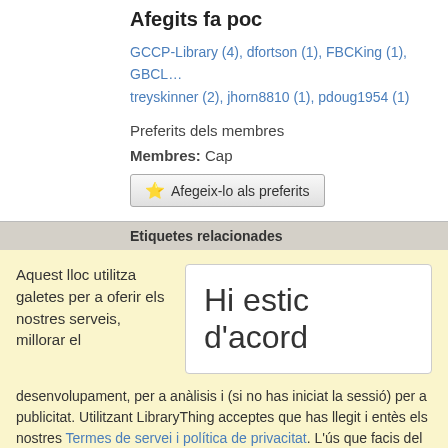Afegits fa poc
GCCP-Library (4), dfortson (1), FBCKing (1), GBCL..., treyskinner (2), jhorn8810 (1), pdoug1954 (1)
Preferits dels membres
Membres: Cap
⭐ Afegeix-lo als preferits
Etiquetes relacionades
Aquest lloc utilitza galetes per a oferir els nostres serveis, millorar el
Hi estic d'acord
desenvolupament, per a anàlisis i (si no has iniciat la sessió) per a publicitat. Utilitzant LibraryThing acceptes que has llegit i entès els nostres Termes de servei i política de privacitat. L'ús que facis del lloc i dels seus serveis està subjecte a aquestes polítiques i termes.